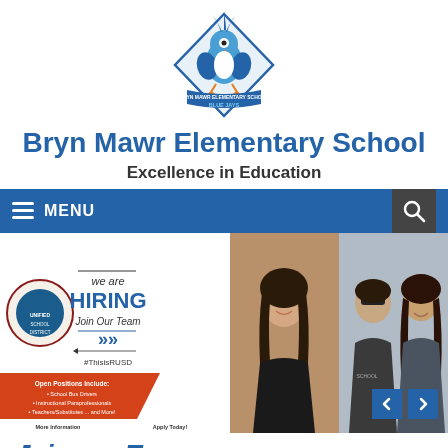[Figure (logo): Bryn Mawr Elementary School Blue Jays mascot logo — cartoon blue jay bird inside a diamond shield with a banner reading BRYN MAWR ELEMENTARY SCHOOL BLUE JAYS]
Bryn Mawr Elementary School
Excellence in Education
[Figure (screenshot): Navigation bar with hamburger menu icon, MENU text on blue background, and search icon on dark right side]
[Figure (infographic): Redlands Unified School District hiring advertisement: 'we are HIRING Join Our Team #ThisisRUSD' with arrow graphics. Open Positions Include: School Bus Drivers, Instructional Paraprofessionals, Teachers/Substitutes... and More! More Information 909-307-5300, Apply Today! www.edjoin.org/redlandsusd. Alongside two photo panels of smiling school staff members including a person in a school security/police vest.]
Join our Team